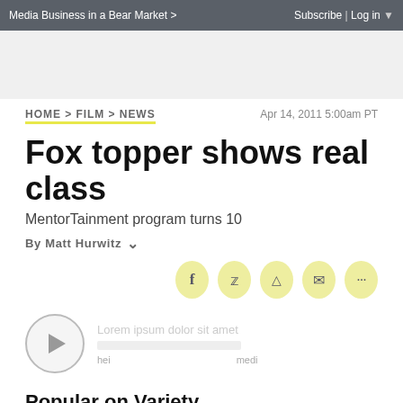Media Business in a Bear Market > | Subscribe | Log in ▼
HOME > FILM > NEWS | Apr 14, 2011 5:00am PT
Fox topper shows real class
MentorTainment program turns 10
By Matt Hurwitz
[Figure (infographic): Social sharing buttons: Facebook, Twitter, Reddit, Email, More (...)]
[Figure (other): Media player with play button circle and blurred text lines]
Popular on Variety
Taylor Swift's New Album, Britney